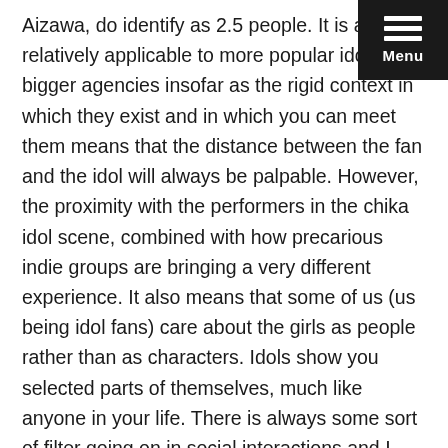Aizawa, do identify as 2.5 people. It is also relatively applicable to more popular idols from bigger agencies insofar as the rigid context in which they exist and in which you can meet them means that the distance between the fan and the idol will always be palpable. However, the proximity with the performers in the chika idol scene, combined with how precarious indie groups are bringing a very different experience. It also means that some of us (us being idol fans) care about the girls as people rather than as characters. Idols show you selected parts of themselves, much like anyone in your life. There is always some sort of filter going on in social interactions and I would liken the chika idol experience more like this than a betwixt and between fictional experience. Also keep in mind that for smaller idol groups, due to the proximity with the fans, a facade or character might be harder to keep up, as you are seen